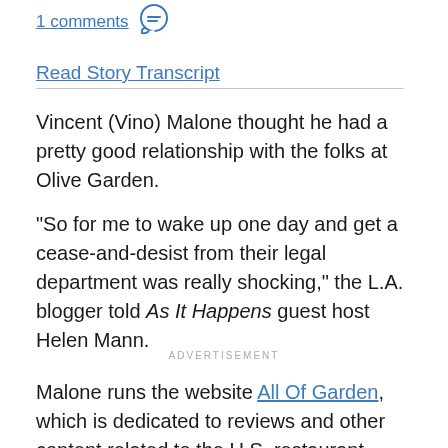1 comments [chat icon]
Read Story Transcript
Vincent (Vino) Malone thought he had a pretty good relationship with the folks at Olive Garden.
"So for me to wake up one day and get a cease-and-desist from their legal department was really shocking," the L.A. blogger told As It Happens guest host Helen Mann.
ADVERTISEMENT
Malone runs the website All Of Garden, which is dedicated to reviews and other content related to the U.S. restaurant chain.